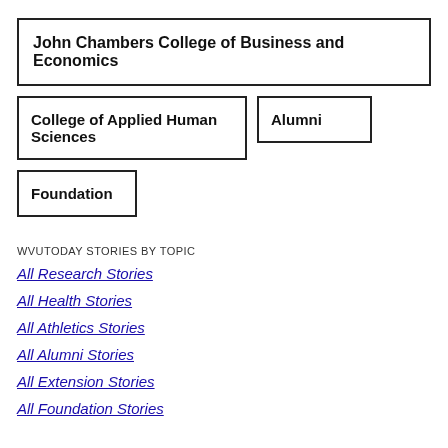John Chambers College of Business and Economics
College of Applied Human Sciences
Alumni
Foundation
WVUTODAY STORIES BY TOPIC
All Research Stories
All Health Stories
All Athletics Stories
All Alumni Stories
All Extension Stories
All Foundation Stories